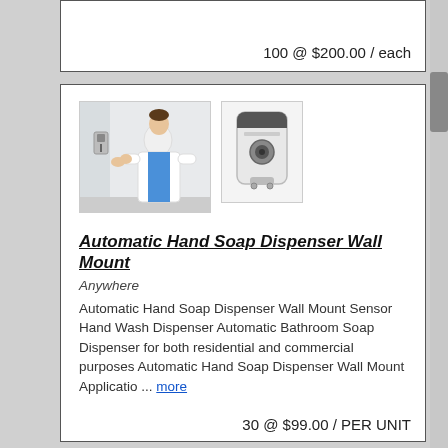100 @ $200.00 / each
[Figure (photo): Two product images: a person using a wall-mounted soap dispenser in a clinical setting, and a standalone automatic soap dispenser unit]
Automatic Hand Soap Dispenser Wall Mount
Anywhere
Automatic Hand Soap Dispenser Wall Mount Sensor Hand Wash Dispenser Automatic Bathroom Soap Dispenser for both residential and commercial purposes Automatic Hand Soap Dispenser Wall Mount Applicatio ... more
30 @ $99.00 / PER UNIT